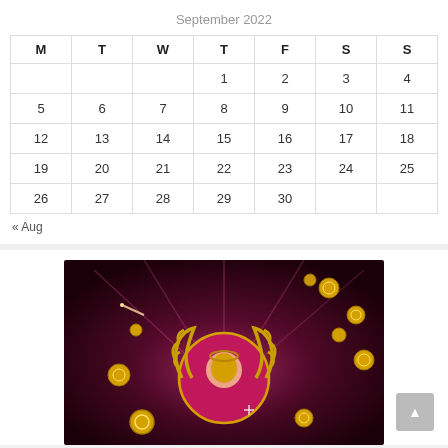September 2022
| M | T | W | T | F | S | S |
| --- | --- | --- | --- | --- | --- | --- |
|  |  |  | 1 | 2 | 3 | 4 |
| 5 | 6 | 7 | 8 | 9 | 10 | 11 |
| 12 | 13 | 14 | 15 | 16 | 17 | 18 |
| 19 | 20 | 21 | 22 | 23 | 24 | 25 |
| 26 | 27 | 28 | 29 | 30 |  |  |
« Aug
[Figure (illustration): Casino-themed image with a Roman emperor bust surrounded by a laurel wreath emblem, gold coins flying around, on a dark magenta/crimson background with light rays.]